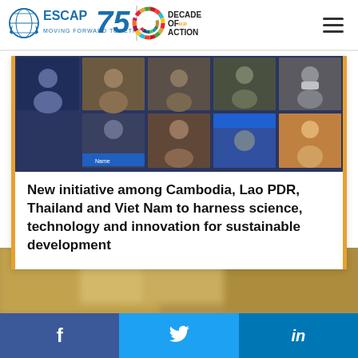[Figure (logo): ESCAP 75 logo with UN emblem, tagline 'MOVING FORWARD TOGETHER', and 'Decade of Action' SDG wheel logo]
[Figure (photo): Virtual meeting screenshot showing multiple participants in a video conference grid layout]
New initiative among Cambodia, Lao PDR, Thailand and Viet Nam to harness science, technology and innovation for sustainable development
[Figure (photo): Blurred photo of a person at a meeting or event]
f  (Facebook share button)
🐦 (Twitter share button)
in (LinkedIn share button)